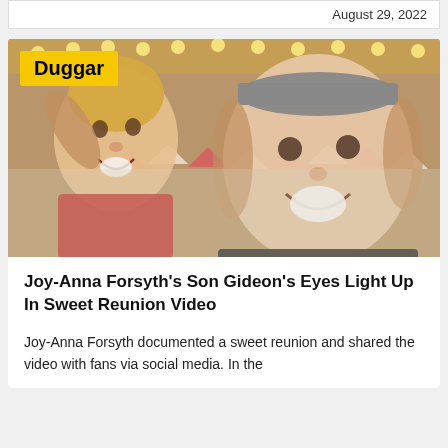August 29, 2022
[Figure (photo): A woman wearing a gray baseball cap and dark jacket smiles broadly at camera alongside a young blond toddler boy in a red plaid shirt, both on what appears to be a carousel or fairground ride with decorative lights and bunting in the background. A yellow 'Duggar' tag overlays the top-left corner of the image.]
Joy-Anna Forsyth's Son Gideon's Eyes Light Up In Sweet Reunion Video
Joy-Anna Forsyth documented a sweet reunion and shared the video with fans via social media. In the